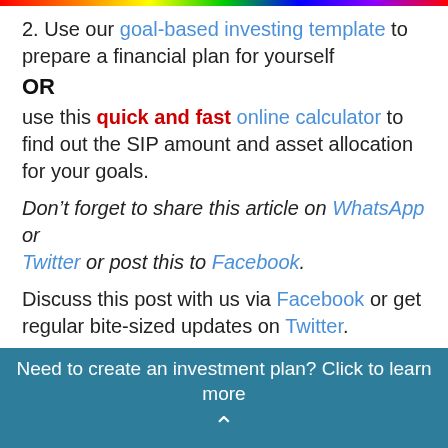2. Use our goal-based investing template to prepare a financial plan for yourself
OR
use this quick and fast online calculator to find out the SIP amount and asset allocation for your goals.
Don't forget to share this article on WhatsApp or Twitter or post this to Facebook.
Discuss this post with us via Facebook or get regular bite-sized updates on Twitter.
More posts...
Need to create an investment plan? Click to learn more